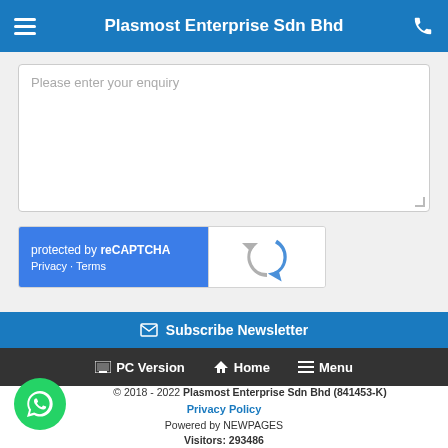Plasmost Enterprise Sdn Bhd
Please enter your enquiry
[Figure (screenshot): reCAPTCHA widget with blue left panel showing 'protected by reCAPTCHA' and Privacy/Terms links, white right panel with reCAPTCHA logo]
Send
Subscribe Newsletter
PC Version   Home   Menu
© 2018 - 2022 Plasmost Enterprise Sdn Bhd (841453-K)
Privacy Policy
Powered by NEWPAGES
Visitors: 293486